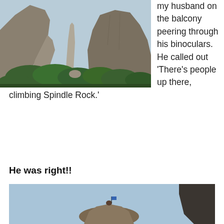[Figure (photo): Photograph of tall rock formations (Spindle Rock area) with lush green trees at the base and a light blue sky. A thin tall spire of rock is visible in the center.]
my husband on the balcony peering through his binoculars. He called out ‘There’s people up there,
climbing Spindle Rock.’
He was right!!
[Figure (photo): Photograph of a rocky summit against a blue sky, with a small figure and flag visible at the top of the rock.]